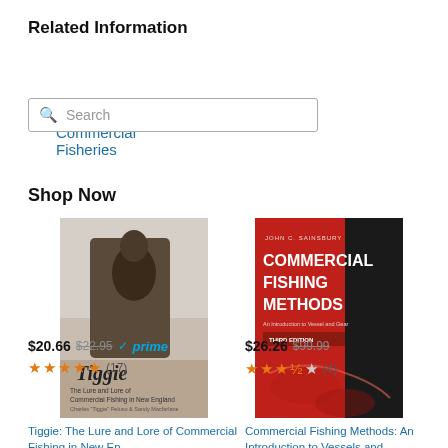Related Information
Commercial Fisheries
[Figure (screenshot): Search box with magnifying glass icon and placeholder text 'Search']
Shop Now
[Figure (photo): Book cover: Tiggie: The Lure and Lore of Commercial Fishing in New England — black and white photo of a fisherman]
Tiggie: The Lure and Lore of Commercial Fishing in New En…
$20.66  $22.95  ✓prime
★★★★★ (17)
[Figure (photo): Book cover: Commercial Fishing Methods: An Introduction to Vessels and ... — red and black cover with text]
Commercial Fishing Methods: An Introduction to Vessels and …
$26.26  $99.99
★★★½☆ (4)